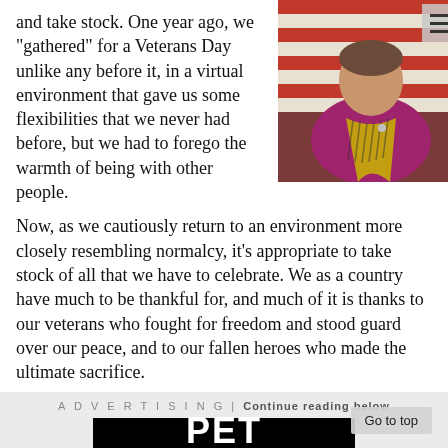and take stock. One year ago, we "gathered" for a Veterans Day unlike any before it, in a virtual environment that gave us some flexibilities that we never had before, but we had to forego the warmth of being with other people.
[Figure (photo): Woman in magenta/purple top wearing a patterned scarf, standing in front of an American flag. She appears to be a government official with a pin on her lapel.]
Now, as we cautiously return to an environment more closely resembling normalcy, it's appropriate to take stock of all that we have to celebrate. We as a country have much to be thankful for, and much of it is thanks to our veterans who fought for freedom and stood guard over our peace, and to our fallen heroes who made the ultimate sacrifice.
ADVERTISING | Continue reading below
[Figure (other): Advertisement banner with black background and white bold text reading 'PET TRIBUTES']